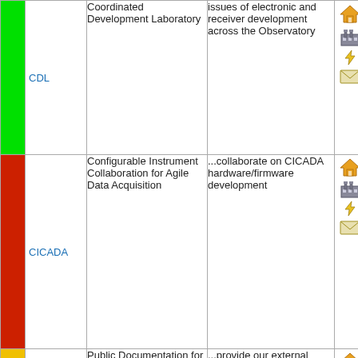| Color | Name | Description | Purpose | Icons |
| --- | --- | --- | --- | --- |
| green | CDL | Coordinated Development Laboratory | issues of electronic and receiver development across the Observatory | icons |
| red | CICADA | Configurable Instrument Collaboration for Agile Data Acquisition | ...collaborate on CICADA hardware/firmware development | icons |
| yellow | Ccs | Public Documentation for Computing and Networking | ...provide our external collaborators with documentation | icons |
| green | Cville | NRAO Charlottesville | ...collaborate on issues specific to NRAO's Charlottesville, VA location. | icons |
| purple |  | Scientific and | ...collaborate on Scientific and | icons |